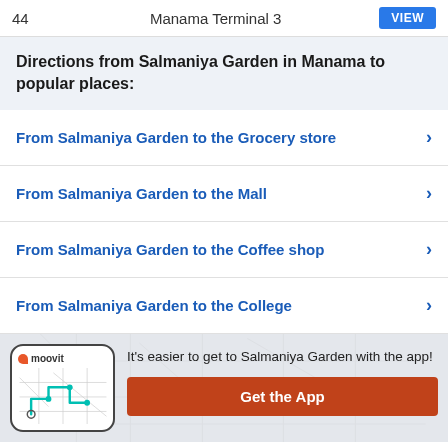44	Manama Terminal 3	VIEW
Directions from Salmaniya Garden in Manama to popular places:
From Salmaniya Garden to the Grocery store
From Salmaniya Garden to the Mall
From Salmaniya Garden to the Coffee shop
From Salmaniya Garden to the College
It's easier to get to Salmaniya Garden with the app!
Get the App